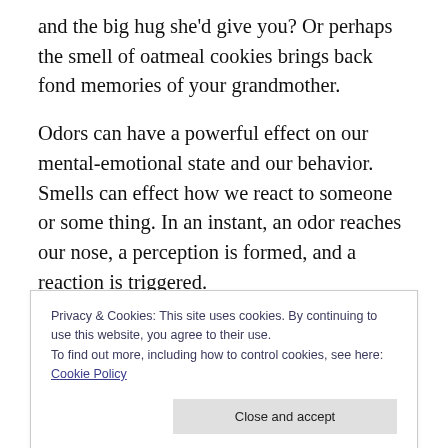and the big hug she'd give you? Or perhaps the smell of oatmeal cookies brings back fond memories of your grandmother.
Odors can have a powerful effect on our mental-emotional state and our behavior. Smells can effect how we react to someone or some thing. In an instant, an odor reaches our nose, a perception is formed, and a reaction is triggered.
This week become aware of smells. The good and the not so pleasant. Breathe deep the odors around you, from the freshly fallen rain to the clean laundry.
Privacy & Cookies: This site uses cookies. By continuing to use this website, you agree to their use.
To find out more, including how to control cookies, see here: Cookie Policy
Close and accept
Bonus: I was thrilled last week to hear from Wendy, one of